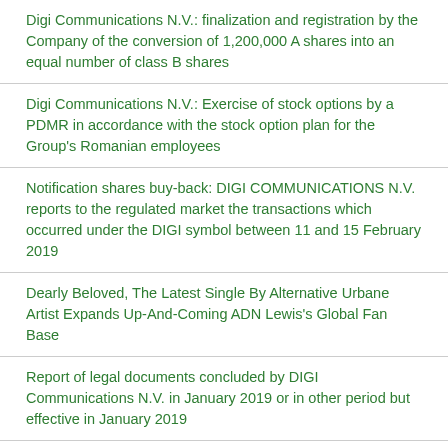Digi Communications N.V.: finalization and registration by the Company of the conversion of 1,200,000 A shares into an equal number of class B shares
Digi Communications N.V.: Exercise of stock options by a PDMR in accordance with the stock option plan for the Group's Romanian employees
Notification shares buy-back: DIGI COMMUNICATIONS N.V. reports to the regulated market the transactions which occurred under the DIGI symbol between 11 and 15 February 2019
Dearly Beloved, The Latest Single By Alternative Urbane Artist Expands Up-And-Coming ADN Lewis's Global Fan Base
Report of legal documents concluded by DIGI Communications N.V. in January 2019 or in other period but effective in January 2019
Digi Communications N.V. announces Availability of Preliminary Financial Report for the year ended December 31, 2018 for Digi Communications N.V. Group